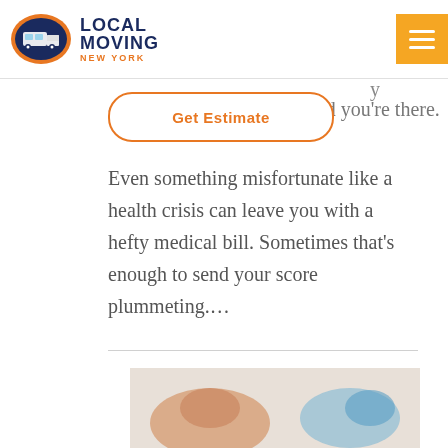[Figure (logo): Local Moving New York logo with truck icon in orange oval]
[Figure (other): Get Estimate button with orange border, rounded rectangle]
cr...payments and you're there.
Even something misfortunate like a health crisis can leave you with a hefty medical bill. Sometimes that’s enough to send your score plummeting....
[Figure (photo): Partial photo of hands at bottom of page]